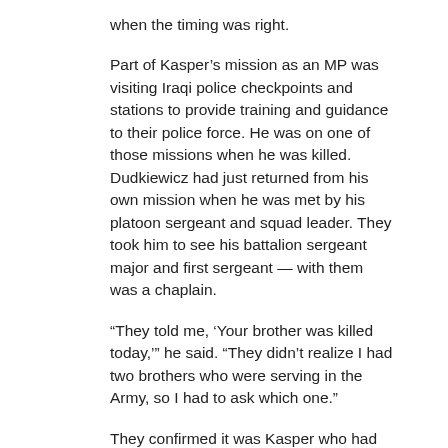when the timing was right.
Part of Kasper’s mission as an MP was visiting Iraqi police checkpoints and stations to provide training and guidance to their police force. He was on one of those missions when he was killed. Dudkiewicz had just returned from his own mission when he was met by his platoon sergeant and squad leader. They took him to see his battalion sergeant major and first sergeant — with them was a chaplain.
“They told me, ‘Your brother was killed today,’” he said. “They didn’t realize I had two brothers who were serving in the Army, so I had to ask which one.”
They confirmed it was Kasper who had lost his life.
“I couldn’t believe it. There was no way. Just a couple weeks prior we were talking to each other,” he said.
Like Glanville, Dudkiewicz said the CAOs assigned to his family made sure everything was taken care of from start to finish.